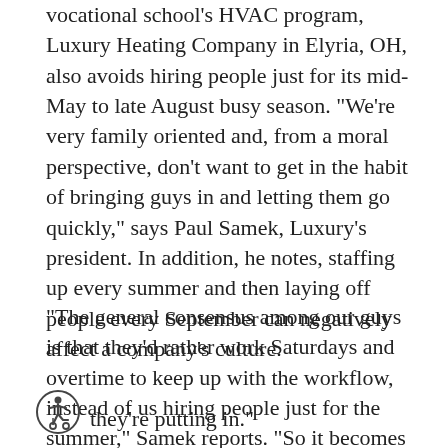vocational school's HVAC program, Luxury Heating Company in Elyria, OH, also avoids hiring people just for its mid-May to late August busy season. “We’re very family oriented and, from a moral perspective, don’t want to get in the habit of bringing guys in and letting them go quickly,” says Paul Samek, Luxury’s president. In addition, he notes, staffing up every summer and then laying off people every September can negatively affect a company’s culture.
“The general consensus among our guys is that they’d rather work Saturdays and overtime to keep up with the workflow, instead of us hiring people just for the summer,” Samek reports. “So it becomes a delicate balance of not tasking the guys so much that they become totally beaten down by the extra hours they’re putting in.”